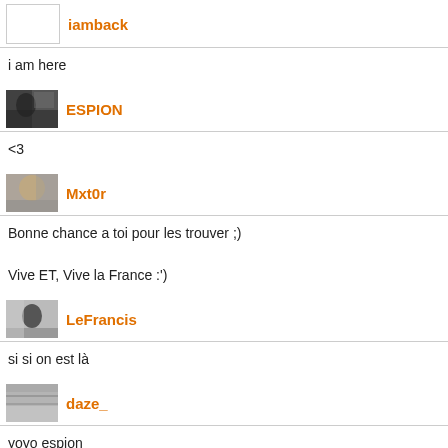iamback
i am here
ESPION
<3
Mxt0r
Bonne chance a toi pour les trouver ;)

Vive ET, Vive la France :')
LeFrancis
si si on est là
daze_
yoyo espion
ESPION